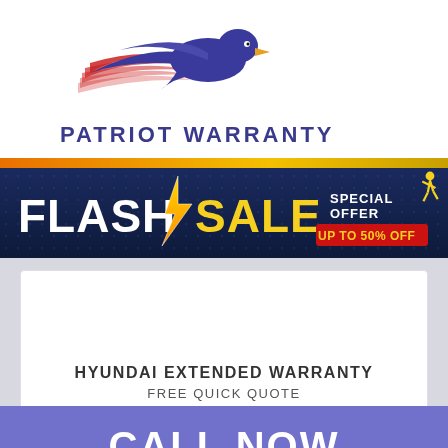[Figure (logo): Patriot Warranty logo with eagle and American flag stripes, purple and red colors, with text PATRIOT WARRANTY below]
[Figure (infographic): Flash Sale banner with dark navy background, orange and gold gradient top border, large white and yellow FLASH SALE text with lightning bolt, SPECIAL OFFER text and UP TO 50% OFF in red badge, running figure icon]
HYUNDAI EXTENDED WARRANTY
FREE QUICK QUOTE
CALL NOW